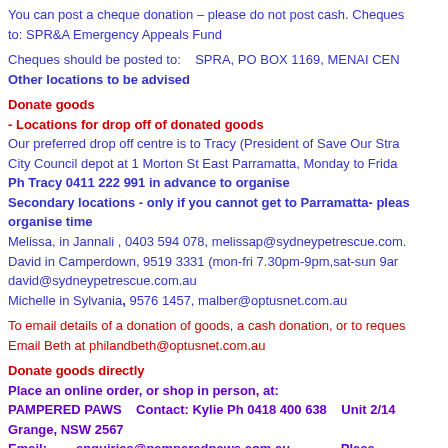You can post a cheque donation – please do not post cash. Cheques to: SPR&A Emergency Appeals Fund
Cheques should be posted to: SPRA, PO BOX 1169, MENAI CEN Other locations to be advised
Donate goods
- Locations for drop off of donated goods
Our preferred drop off centre is to Tracy (President of Save Our Stra City Council depot at 1 Morton St East Parramatta, Monday to Frida
Ph Tracy 0411 222 991 in advance to organise
Secondary locations - only if you cannot get to Parramatta- pleas organise time
Melissa, in Jannali , 0403 594 078, melissap@sydneypetrescue.com.
David in Camperdown, 9519 3331 (mon-fri 7.30pm-9pm,sat-sun 9ar david@sydneypetrescue.com.au
Michelle in Sylvania, 9576 1457, malber@optusnet.com.au
To email details of a donation of goods, a cash donation, or to reques Email Beth at philandbeth@optusnet.com.au
Donate goods directly
Place an online order, or shop in person, at:
PAMPERED PAWS   Contact: Kylie Ph 0418 400 638   Unit 2/14 Grange, NSW 2567
Email:       enquiries@pamperedpaws.com.au      Place http://www.pamperedpaws.com.au/floodappeal.php
Pampered Paws will dispatch your donations directly to our don